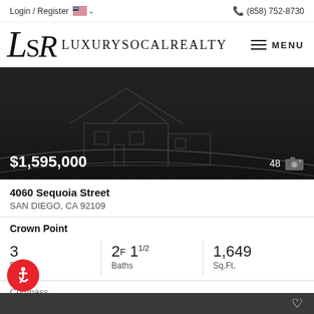Login / Register  (858) 752-8730
[Figure (logo): Luxury SoCal Realty logo with LSR initials and MENU button]
[Figure (photo): Dark hero banner with house blueprint silhouette, price $1,595,000 and 48 photos indicator]
4060 Sequoia Street
SAN DIEGO, CA 92109
Crown Point
3 Beds  2F 1 1/2 Baths  1,649 Sq.Ft.
Compass